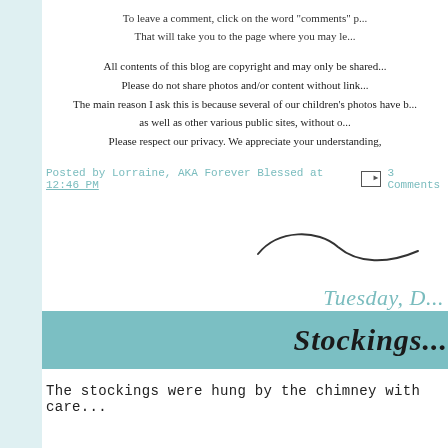To leave a comment, click on the word "comments" p... That will take you to the page where you may le...
All contents of this blog are copyright and may only be shared... Please do not share photos and/or content without link... The main reason I ask this is because several of our children's photos have b... as well as other various public sites, without o... Please respect our privacy. We appreciate your understanding,
Posted by Lorraine, AKA Forever Blessed at 12:46 PM   3 Comments
[Figure (illustration): Cursive signature/flourish graphic]
Tuesday, D...
Stockings...
The stockings were hung by the chimney with care...